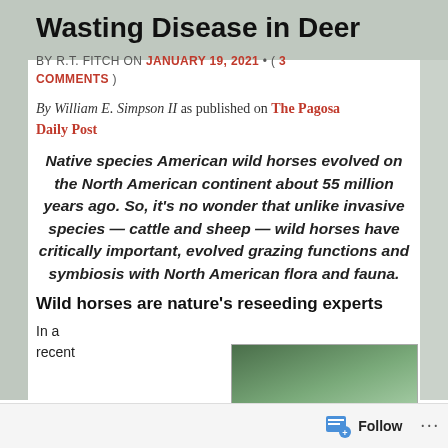Wasting Disease in Deer
BY R.T. FITCH ON JANUARY 19, 2021 • ( 3 COMMENTS )
By William E. Simpson II as published on The Pagosa Daily Post
Native species American wild horses evolved on the North American continent about 55 million years ago. So, it's no wonder that unlike invasive species — cattle and sheep — wild horses have critically important, evolved grazing functions and symbiosis with North American flora and fauna.
Wild horses are nature's reseeding experts
In a recent